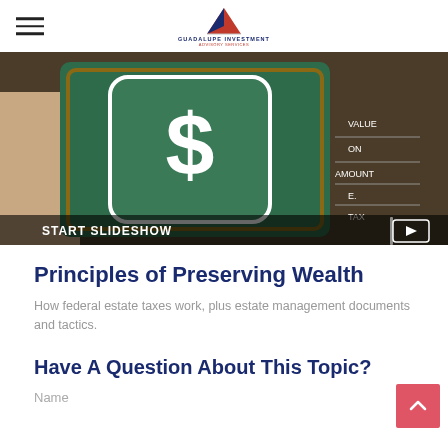Guadalupe Investment Advisory Services
[Figure (screenshot): A tablet displaying a dollar sign on a chalkboard background with financial terms. Bottom left shows 'START SLIDESHOW' text and a slideshow icon on the right.]
Principles of Preserving Wealth
How federal estate taxes work, plus estate management documents and tactics.
Have A Question About This Topic?
Name